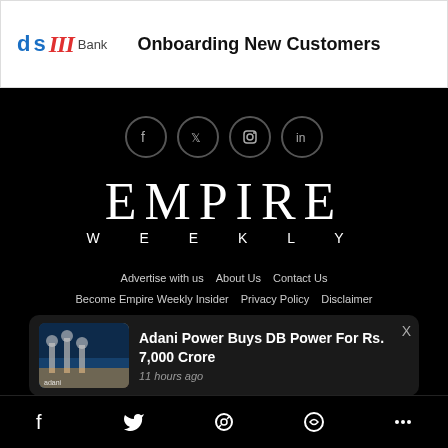[Figure (logo): DSIII Bank logo with 'Onboarding New Customers' text]
[Figure (logo): Empire Weekly footer logo with social media icons (Facebook, Twitter, Instagram, LinkedIn)]
Advertise with us  About Us  Contact Us  Become Empire Weekly Insider  Privacy Policy  Disclaimer  Site Map  Help Center  Terms and Conditions  Google News  Jobs and Internships  DMCA  Ownership & funding information  Editorial team
[Figure (screenshot): Notification popup: Adani Power Buys DB Power For Rs. 7,000 Crore — 11 hours ago]